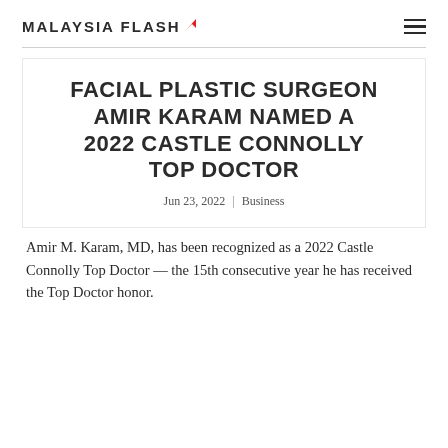MALAYSIA FLASH
FACIAL PLASTIC SURGEON AMIR KARAM NAMED A 2022 CASTLE CONNOLLY TOP DOCTOR
Jun 23, 2022 | Business
Amir M. Karam, MD, has been recognized as a 2022 Castle Connolly Top Doctor — the 15th consecutive year he has received the Top Doctor honor.